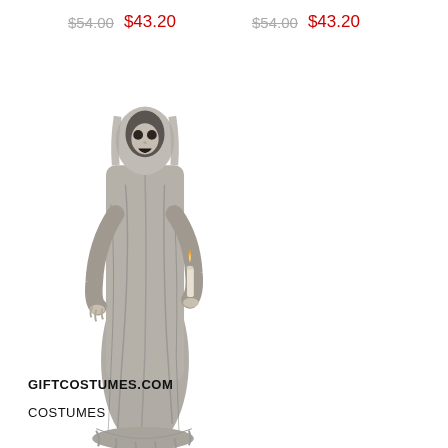$54.00  $43.20    $54.00  $43.20
[Figure (photo): Standing Candle Ghoul with Noose Prop halloween decoration — a tall figure in tattered gray robes holding a candle, face partially visible with open mouth]
Standing Candle Ghoul with Noose Prop Promotions
$99.00  $55.20
GIFTCOSTUMES.COM
COSTUMES